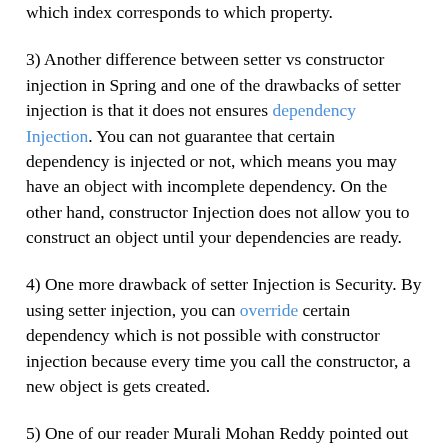which index corresponds to which property.
3) Another difference between setter vs constructor injection in Spring and one of the drawbacks of setter injection is that it does not ensures dependency Injection. You can not guarantee that certain dependency is injected or not, which means you may have an object with incomplete dependency. On the other hand, constructor Injection does not allow you to construct an object until your dependencies are ready.
4) One more drawback of setter Injection is Security. By using setter injection, you can override certain dependency which is not possible with constructor injection because every time you call the constructor, a new object is gets created.
5) One of our reader Murali Mohan Reddy pointed out one more difference between Setter and Constructor Injection in